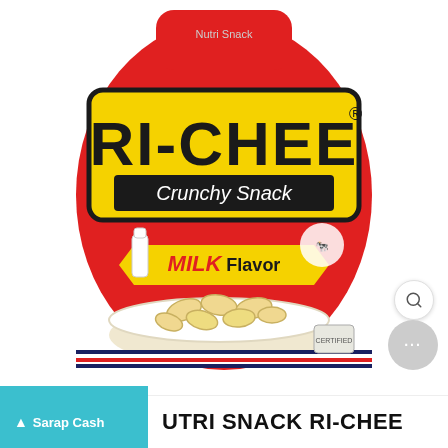[Figure (photo): Product photo of a red snack bag labeled RI-CHEE Crunchy Snack, Milk Flavor, showing puffed snack pieces in a bowl on the front of the bag.]
Sarap Cash
NUTRI SNACK RI-CHEE